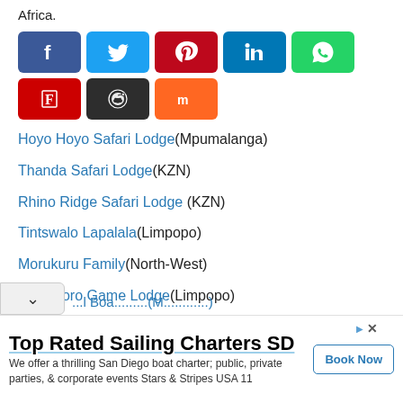Africa.
[Figure (infographic): Social media sharing buttons: Facebook (blue), Twitter (light blue), Pinterest (red), LinkedIn (blue), WhatsApp (green), Flipboard (dark red), Reddit (dark/black), Mix (orange)]
Hoyo Hoyo Safari Lodge (Mpumalanga)
Thanda Safari Lodge (KZN)
Rhino Ridge Safari Lodge (KZN)
Tintswalo Lapalala (Limpopo)
Morukuru Family (North-West)
Mhondoro Game Lodge (Limpopo)
[Figure (infographic): Advertisement: Top Rated Sailing Charters SD — We offer a thrilling San Diego boat charter; public, private parties, & corporate events Stars & Stripes USA 11. Book Now button.]